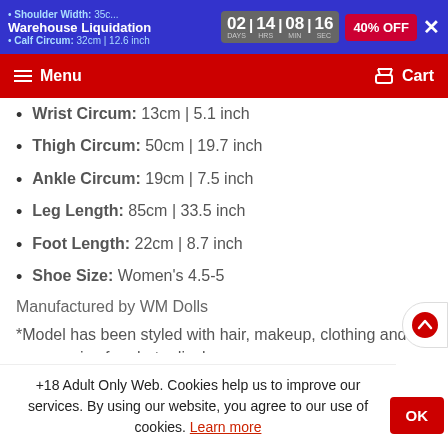Warehouse Liquidation | 02 DAYS 14 HRS 08 MIN 16 SEC | 40% OFF
Menu | Cart
Wrist Circum: 13cm | 5.1 inch
Thigh Circum: 50cm | 19.7 inch
Ankle Circum: 19cm | 7.5 inch
Leg Length: 85cm | 33.5 inch
Foot Length: 22cm | 8.7 inch
Shoe Size: Women's 4.5-5
Manufactured by WM Dolls
*Model has been styled with hair, makeup, clothing and accessories for photo display
+18 Adult Only Web. Cookies help us to improve our services. By using our website, you agree to our use of cookies. Learn more